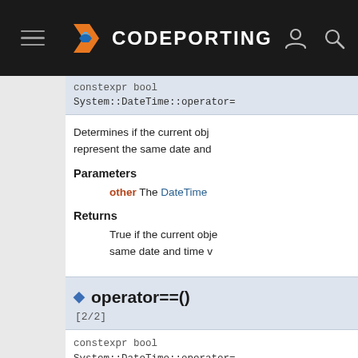CODEPORTING
constexpr bool System::DateTime::operator=
Determines if the current obj... represent the same date and...
Parameters
other The DateTime...
Returns
True if the current obje... same date and time v...
◆ operator==()
[2/2]
constexpr bool System::DateTime::operator=